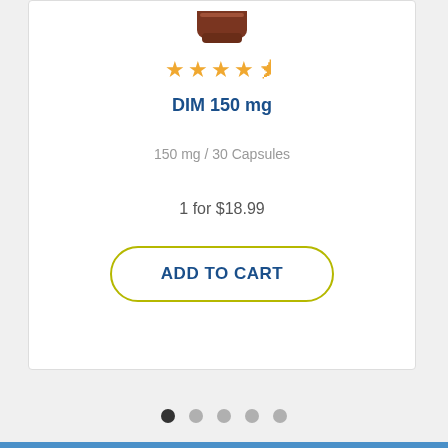[Figure (photo): Bottom portion of a supplement bottle (brown/dark container)]
★★★★½ (star rating, 4.5 stars)
DIM 150 mg
150 mg / 30 Capsules
1 for $18.99
ADD TO CART
● ○ ○ ○ ○ (carousel dots, first active)